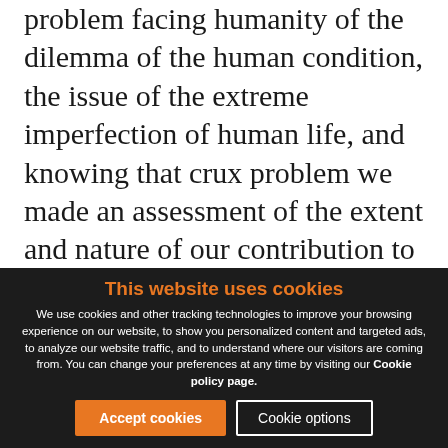problem facing humanity of the dilemma of the human condition, the issue of the extreme imperfection of human life, and knowing that crux problem we made an assessment of the extent and nature of our contribution to its solution. For the very rare exceptionally fortunate, those exceptionally loved and nurtured in their infancy and early childhood, they knew
This website uses cookies
We use cookies and other tracking technologies to improve your browsing experience on our website, to show you personalized content and targeted ads, to analyze our website traffic, and to understand where our visitors are coming from. You can change your preferences at any time by visiting our Cookie policy page.